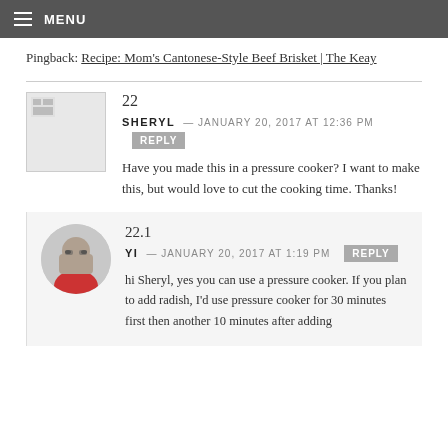MENU
Pingback: Recipe: Mom's Cantonese-Style Beef Brisket | The Keay
22
SHERYL — JANUARY 20, 2017 AT 12:36 PM
Have you made this in a pressure cooker? I want to make this, but would love to cut the cooking time. Thanks!
22.1
YI — JANUARY 20, 2017 AT 1:19 PM
hi Sheryl, yes you can use a pressure cooker. If you plan to add radish, I'd use pressure cooker for 30 minutes first then another 10 minutes after adding